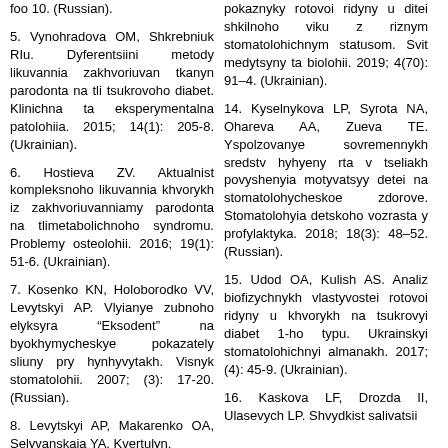foo 10. (Russian).
5. Vynohradova OM, Shkrebniuk RIu. Dyferentsiini metody likuvannia zakhvoriuvan tkanyn parodonta na tli tsukrovoho diabet. Klinichna ta eksperymentalna patolohiia. 2015; 14(1): 205-8. (Ukrainian).
6. Hostieva ZV. Aktualnist kompleksnoho likuvannia khvorykh iz zakhvoriuvanniamy parodonta na tlimetabolichnoho syndromu. Problemy osteolohii. 2016; 19(1): 51-6. (Ukrainian).
7. Kosenko KN, Holoborodko VV, Levytskyi AP. Vlyianye zubnoho elyksyra “Eksodent” na byokhymycheskye pokazately sliuny pry hynhyvytakh. Visnyk stomatolohii. 2007; (3): 17-20. (Russian).
8. Levytskyi AP, Makarenko OA, Selyvanskaia YA. Kvertulyn.
pokaznyky rotovoi ridyny u ditei shkilnoho viku z riznym stomatolohichnym statusom. Svit medytsyny ta biolohii. 2019; 4(70): 91–4. (Ukrainian).
14. Kyselnykova LP, Syrota NA, Ohareva AA, Zueva TE. Yspolzovanye sovremennykh sredstv hyhyeny rta v tseliakh povyshenyia motyvatsyy detei na stomatolohycheskoe zdorove. Stomatolohyia detskoho vozrasta y profylaktyka. 2018; 18(3): 48–52. (Russian).
15. Udod OA, Kulish AS. Analiz biofizychnykh vlastyvostei rotovoi ridyny u khvorykh na tsukrovyi diabet 1-ho typu. Ukrainskyi stomatolohichnyi almanakh. 2017; (4): 45-9. (Ukrainian).
16. Kaskova LF, Drozda II, Ulasevych LP. Shvydkist salivatsii